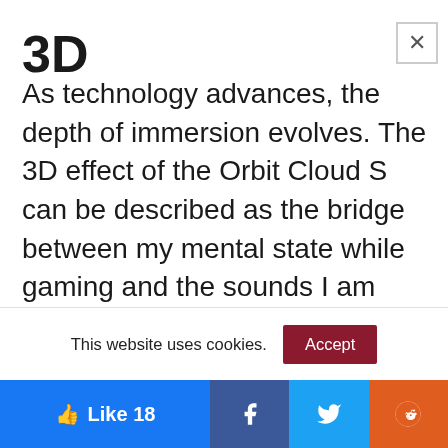3D
As technology advances, the depth of immersion evolves. The 3D effect of the Orbit Cloud S can be described as the bridge between my mental state while gaming and the sounds I am experiencing. I can remember all the times when playing Mario Kart and my head started tilting or when I'm playing Super Smash Brothers and I was
This website uses cookies.
Accept
👍 Like 18